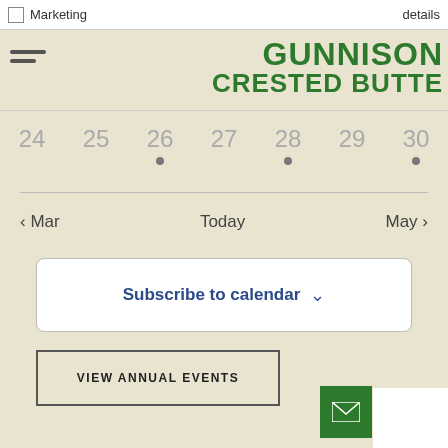Marketing
details
[Figure (logo): GUNNISON CRESTED BUTTE logo in bold green text]
24  25  26  28  30 (calendar dates with dots on 26, 28, 30)
< Mar    Today    May >
Subscribe to calendar ∨
VIEW ANNUAL EVENTS